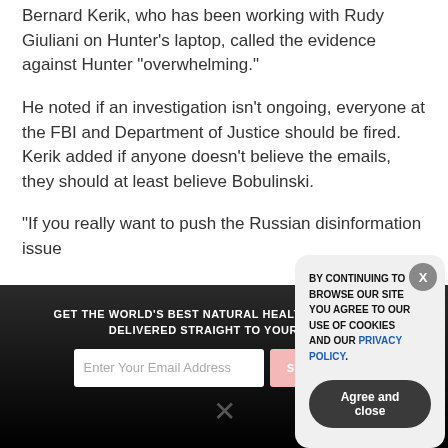Bernard Kerik, who has been working with Rudy Giuliani on Hunter’s laptop, called the evidence against Hunter “overwhelming.”
He noted if an investigation isn’t ongoing, everyone at the FBI and Department of Justice should be fired. Kerik added if anyone doesn’t believe the emails, they should at least believe Bobulinski.
“If you really want to push the Russian disinformation issue
GET THE WORLD’S BEST NATURAL HEALTH NEWSLETTER DELIVERED STRAIGHT TO YOUR INBOX
Enter Your Email Address
SUBSCRIBE
BY CONTINUING TO BROWSE OUR SITE YOU AGREE TO OUR USE OF COOKIES AND OUR PRIVACY POLICY.
Agree and close